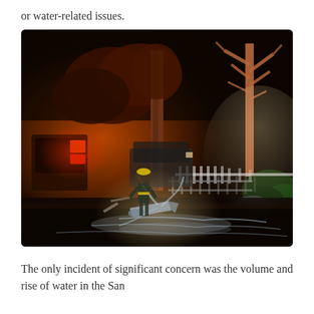or water-related issues.
[Figure (photo): Nighttime outdoor scene showing a flooded street with a firefighter or emergency worker standing near a downed tree or structure, water spraying on the ground. Emergency vehicle with red flashing lights visible in the background left. Trees illuminated by lights, white picket fence and rocks visible on the right side.]
The only incident of significant concern was the volume and rise of water in the San